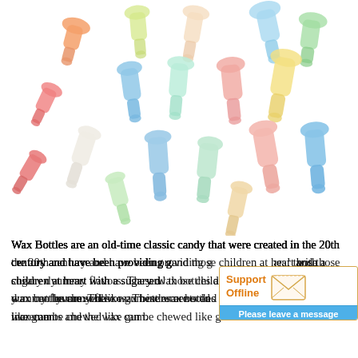[Figure (photo): A pile of colorful wax bottle candies in various pastel colors including pink, orange, yellow, green, blue, and white, arranged in a heap on a white background.]
Wax Bottles are an old-time classic candy that were created in the 20th century and have been providing g[reat taste to children] and those children at heart with a sugary d[elight in several] yummy flavors. These wax bottles are sold [in small] increments and the wax can be chewed like gum.